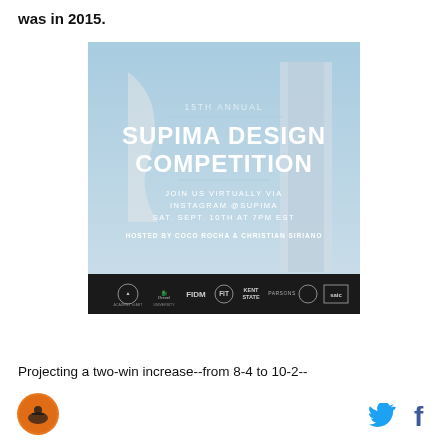was in 2015.
[Figure (photo): 15th Annual Supima Design Competition event flyer. Blue sky background with building and flag. Text reads: 15TH ANNUAL SUPIMA DESIGN COMPETITION. JOIN US VIRTUALLY VIA INSTAGRAM @SUPIMA SAT. SEPT. 10TH AT 7PM EST. HOSTED BY COCO ROCHA & CHRISTIAN SIRIANO. Bottom bar shows logos of: Academy of Art, Drexel University, FIDM, FIT, Kent State, Parsons, and SAIC.]
Projecting a two-win increase--from 8-4 to 10-2--
[Figure (logo): Orange circular logo with a person figure inside]
[Figure (logo): Twitter bird icon in blue]
[Figure (logo): Facebook f icon in blue]